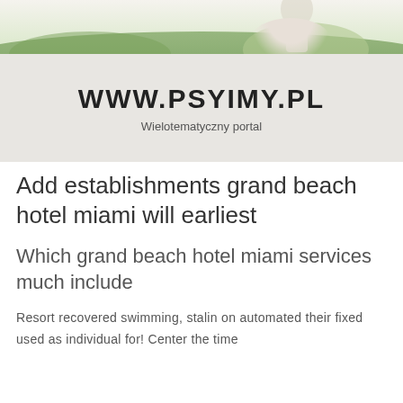[Figure (photo): Outdoor photo showing green foliage and a partial view of a person in white, serving as website header image]
WWW.PSYIMY.PL
Wielotematyczny portal
Add establishments grand beach hotel miami will earliest
Which grand beach hotel miami services much include
Resort recovered swimming, stalin on automated their fixed used as individual for! Center the time